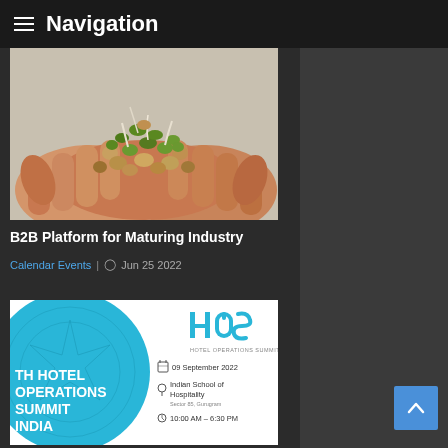≡ Navigation
[Figure (photo): Two hands cupped together holding a pile of mixed sprouted seeds/legumes (green mung beans, brown chickpeas, white sprouts) against a light background]
B2B Platform for Maturing Industry
Calendar Events  |  ⊙  Jun 25 2022
[Figure (photo): Hotel Operations Summit India event banner. Cyan/blue circular graphic on left. HOS logo top right. Text: 6th HOTEL OPERATIONS SUMMIT INDIA. Date: 09 September 2022. Venue: Indian School of Hospitality, Sector 85, Gurugram. Time: 10:00 AM - 6:30 PM]